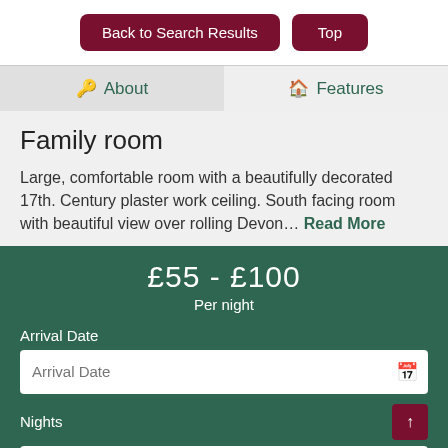Back to Search Results | Top
About | Features
Family room
Large, comfortable room with a beautifully decorated 17th. Century plaster work ceiling. South facing room with beautiful view over rolling Devon… Read More
£55 - £100
Per night
Arrival Date
Nights